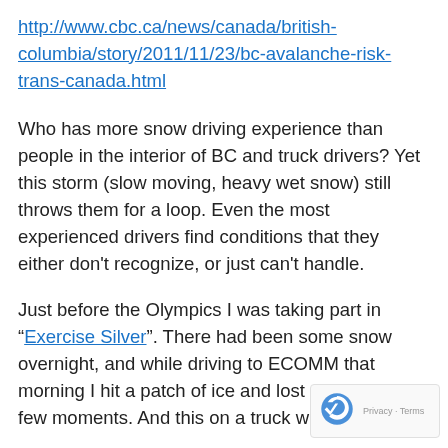http://www.cbc.ca/news/canada/british-columbia/story/2011/11/23/bc-avalanche-risk-trans-canada.html
Who has more snow driving experience than people in the interior of BC and truck drivers? Yet this storm (slow moving, heavy wet snow) still throws them for a loop. Even the most experienced drivers find conditions that they either don't recognize, or just can't handle.
Just before the Olympics I was taking part in "Exercise Silver". There had been some snow overnight, and while driving to ECOMM that morning I hit a patch of ice and lost control for a few moments. And this on a truck with all wheel